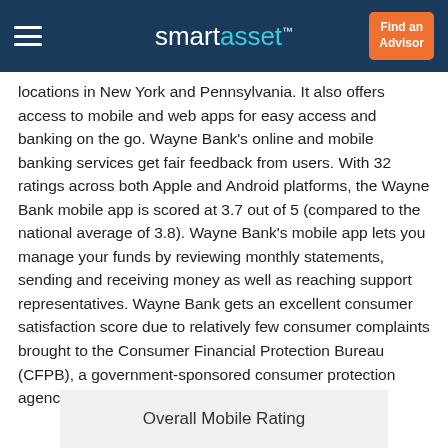smartasset™  Find an Advisor
locations in New York and Pennsylvania. It also offers access to mobile and web apps for easy access and banking on the go. Wayne Bank's online and mobile banking services get fair feedback from users. With 32 ratings across both Apple and Android platforms, the Wayne Bank mobile app is scored at 3.7 out of 5 (compared to the national average of 3.8). Wayne Bank's mobile app lets you manage your funds by reviewing monthly statements, sending and receiving money as well as reaching support representatives. Wayne Bank gets an excellent consumer satisfaction score due to relatively few consumer complaints brought to the Consumer Financial Protection Bureau (CFPB), a government-sponsored consumer protection agency.
Overall Mobile Rating